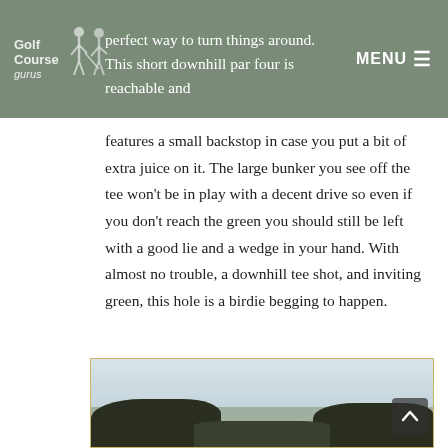Golf Course gurus — MENU
perfect way to turn things around. This short downhill par four is reachable and features a small backstop in case you put a bit of extra juice on it. The large bunker you see off the tee won't be in play with a decent drive so even if you don't reach the green you should still be left with a good lie and a wedge in your hand. With almost no trouble, a downhill tee shot, and inviting green, this hole is a birdie begging to happen.
[Figure (photo): Photograph of a golf hole viewed from the tee, showing tree-lined fairway under an overcast sky]